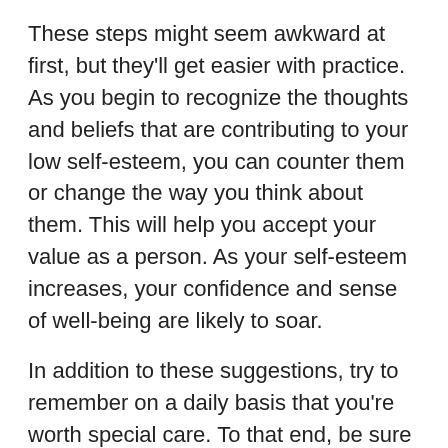These steps might seem awkward at first, but they'll get easier with practice. As you begin to recognize the thoughts and beliefs that are contributing to your low self-esteem, you can counter them or change the way you think about them. This will help you accept your value as a person. As your self-esteem increases, your confidence and sense of well-being are likely to soar.
In addition to these suggestions, try to remember on a daily basis that you're worth special care. To that end, be sure to:
Take care of yourself. Follow good health guidelines. Try to exercise at least 30 minutes a day most days of the week. Eat lots of fruits and vegetables. Limit sweets,